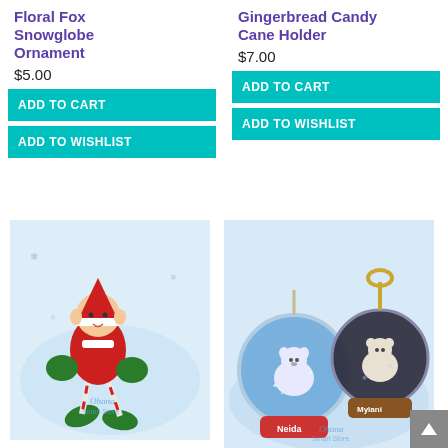Floral Fox Snowglobe Ornament
$5.00
ADD TO CART
ADD TO WISHLIST
Gingerbread Candy Cane Holder
$7.00
ADD TO CART
ADD TO WISHLIST
[Figure (photo): Elf candy cane holder ornament with green mittens and shoes, red outfit, watermarked Ohana Smart Store]
[Figure (photo): Bear snowglobe ornaments — one blue with 'Neida' label, one dark with bear and 'Mylani' label, watermarked Ohana Smart Store]